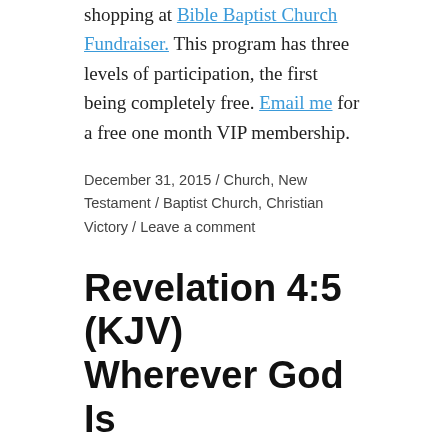shopping at Bible Baptist Church Fundraiser. This program has three levels of participation, the first being completely free. Email me for a free one month VIP membership.
December 31, 2015 / Church, New Testament / Baptist Church, Christian Victory / Leave a comment
Revelation 4:5 (KJV) Wherever God Is
Revelation 4:5 (KJV)
And out of the throne proceeded lightnings and thunderings and voices: and there were seven lamps of fire burning before the throne, which are